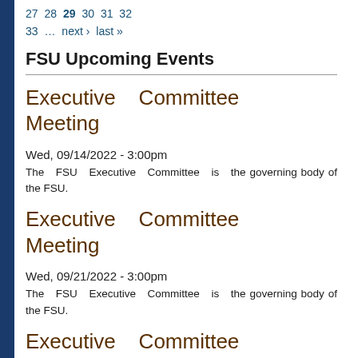27  28  29  30  31  32  33  …  next ›  last »
FSU Upcoming Events
Executive Committee Meeting
Wed, 09/14/2022 - 3:00pm
The FSU Executive Committee is the governing body of the FSU.
Executive Committee Meeting
Wed, 09/21/2022 - 3:00pm
The FSU Executive Committee is the governing body of the FSU.
Executive Committee